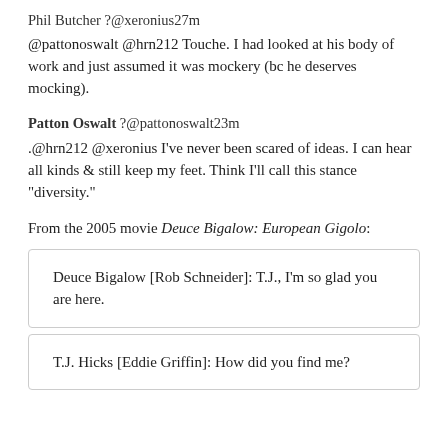Phil Butcher ?@xeronius27m
@pattonoswalt @hrn212 Touche. I had looked at his body of work and just assumed it was mockery (bc he deserves mocking).
Patton Oswalt ?@pattonoswalt23m
.@hrn212 @xeronius I’ve never been scared of ideas. I can hear all kinds & still keep my feet. Think I’ll call this stance “diversity.”
From the 2005 movie Deuce Bigalow: European Gigolo:
Deuce Bigalow [Rob Schneider]: T.J., I’m so glad you are here.
T.J. Hicks [Eddie Griffin]: How did you find me?